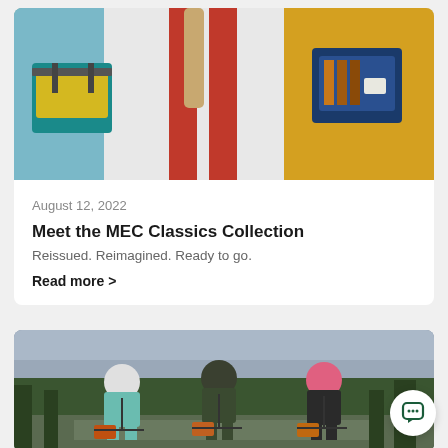[Figure (photo): Two people wearing colorful outdoor bags/fanny packs. Left shows teal and yellow bag, center shows red straps on white jacket, right shows navy and brown striped bag on yellow jacket.]
August 12, 2022
Meet the MEC Classics Collection
Reissued. Reimagined. Ready to go.
Read more >
[Figure (photo): Three cyclists wearing helmets riding gravel bikes on a road surrounded by trees and overcast sky. Left rider wears white helmet and teal jacket, middle wears dark helmet and jacket, right wears pink helmet.]